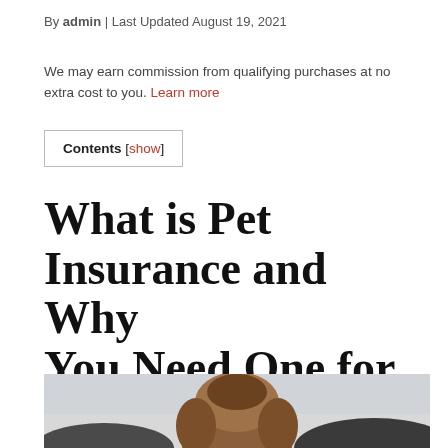By admin | Last Updated August 19, 2021
We may earn commission from qualifying purchases at no extra cost to you. Learn more
Contents [show]
What is Pet Insurance and Why You Need One for Your Pet
[Figure (photo): Photo of a dog or pet seen from behind, with a blurred outdoor background]